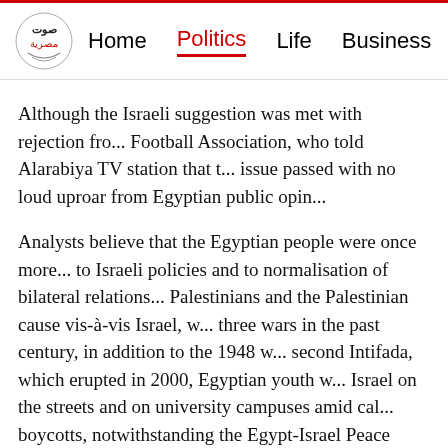Home | Politics | Life | Business | Women's
Although the Israeli suggestion was met with rejection fro... Football Association, who told Alarabiya TV station that t... issue passed with no loud uproar from Egyptian public opin...
Analysts believe that the Egyptian people were once more... to Israeli policies and to normalisation of bilateral relations... Palestinians and the Palestinian cause vis-à-vis Israel, w... three wars in the past century, in addition to the 1948 w... second Intifada, which erupted in 2000, Egyptian youth w... Israel on the streets and on university campuses amid cal... boycotts, notwithstanding the Egypt-Israel Peace Treaty, w... kind between Israel and an Arab country when it was signe...
But more recently, Egyptians' reaction to the signs of wa...